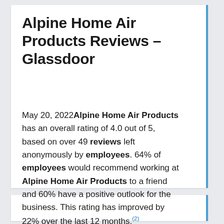Alpine Home Air Products Reviews – Glassdoor
May 20, 2022 Alpine Home Air Products has an overall rating of 4.0 out of 5, based on over 49 reviews left anonymously by employees. 64% of employees would recommend working at Alpine Home Air Products to a friend and 60% have a positive outlook for the business. This rating has improved by 22% over the last 12 months.(2)